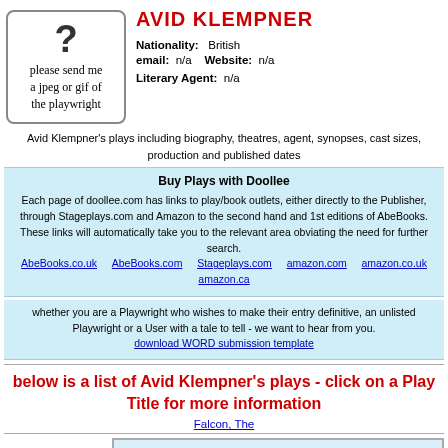[Figure (illustration): Placeholder image box with question mark and text 'please send me a jpeg or gif of the playwright']
AVID KLEMPNER
Nationality: British
email: n/a  Website: n/a
Literary Agent: n/a
Avid Klempner's plays including biography, theatres, agent, synopses, cast sizes, production and published dates
Buy Plays with Doollee
Each page of doollee.com has links to play/book outlets, either directly to the Publisher, through Stageplays.com and Amazon to the second hand and 1st editions of AbeBooks. These links will automatically take you to the relevant area obviating the need for further search.
AbeBooks.co.uk  AbeBooks.com  Stageplays.com  amazon.com  amazon.co.uk
amazon.ca
whether you are a Playwright who wishes to make their entry definitive, an unlisted Playwright or a User with a tale to tell - we want to hear from you.
download WORD submission template
below is a list of Avid Klempner's plays - click on a Play Title for more information
Falcon, The
| Falcon, The |